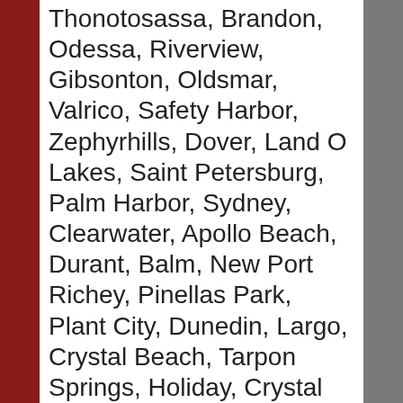Thonotosassa, Brandon, Odessa, Riverview, Gibsonton, Oldsmar, Valrico, Safety Harbor, Zephyrhills, Dover, Land O Lakes, Saint Petersburg, Palm Harbor, Sydney, Clearwater, Apollo Beach, Durant, Balm, New Port Richey, Pinellas Park, Plant City, Dunedin, Largo, Crystal Beach, Tarpon Springs, Holiday, Crystal Springs, Ruskin, Sun City Center, Elfers, Ozona, Saint Leo, Seminole, Sun City, Clearwater Beach, Wimauma, Bay Pines, San Antonio, Port Richey, Belleair Beach, Lithia, Hudson, Indian Rocks Beach, Spring Hill, Lakeland, Dade City, Kathleen, Mulberry, Parrish, Aripeka, Terra Ceia, Palmetto, Ellenton, Eaton Park, Lacoochee, Highland City, Brooksville, Trilby, Brooker...